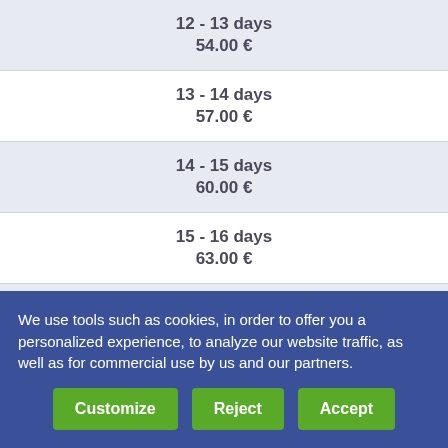| Duration | Price |
| --- | --- |
| 12 - 13 days | 54.00 € |
| 13 - 14 days | 57.00 € |
| 14 - 15 days | 60.00 € |
| 15 - 16 days | 63.00 € |
| 16 - 17 days | 66.00 € |
We use tools such as cookies, in order to offer you a personalized experience, to analyze our website traffic, as well as for commercial use by us and our partners.